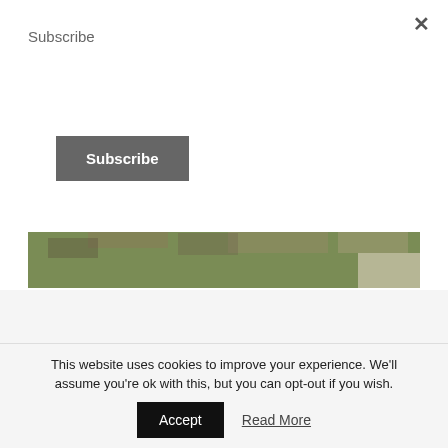Subscribe
Subscribe (button)
× (close button)
[Figure (photo): Photograph of grass lawn and dirt ground at property location]
2750 Louise Ave Knoxville, TN 37914
Parcel/Tax ID: 082KE021
Lot Size:Approx. 83Mx113MxIRR
This website uses cookies to improve your experience. We'll assume you're ok with this, but you can opt-out if you wish.
Accept
Read More